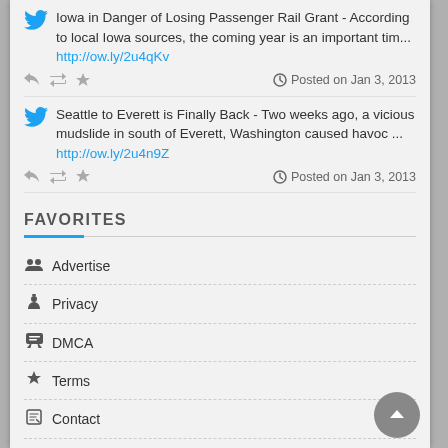Iowa in Danger of Losing Passenger Rail Grant - According to local Iowa sources, the coming year is an important tim... http://ow.ly/2u4qKv
Posted on Jan 3, 2013
Seattle to Everett is Finally Back - Two weeks ago, a vicious mudslide in south of Everett, Washington caused havoc ... http://ow.ly/2u4n9Z
Posted on Jan 3, 2013
FAVORITES
Advertise
Privacy
DMCA
Terms
Contact